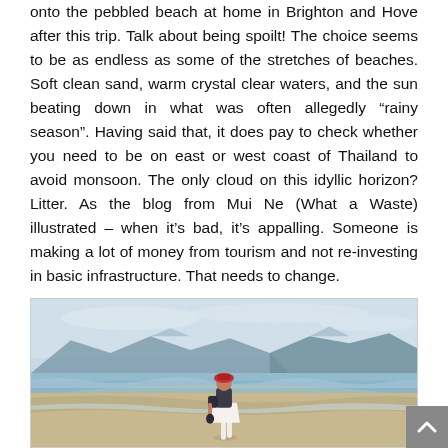onto the pebbled beach at home in Brighton and Hove after this trip. Talk about being spoilt! The choice seems to be as endless as some of the stretches of beaches. Soft clean sand, warm crystal clear waters, and the sun beating down in what was often allegedly “rainy season”. Having said that, it does pay to check whether you need to be on east or west coast of Thailand to avoid monsoon. The only cloud on this idyllic horizon? Litter. As the blog from Mui Ne (What a Waste) illustrated – when it’s bad, it’s appalling. Someone is making a lot of money from tourism and not re-investing in basic infrastructure. That needs to change.
[Figure (photo): A person with a red hat and white dress standing on a wide sandy beach, with waves lapping the shore, and mountains visible in the background under a hazy sky.]